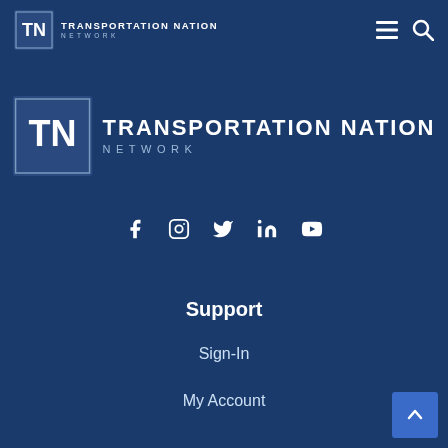Transportation Nation Network — navigation header with logo, hamburger menu, and search icon
[Figure (logo): Transportation Nation Network large center logo — TN metallic emblem with TRANSPORTATION NATION NETWORK text]
[Figure (infographic): Social media icons row: Facebook, Instagram, Twitter, LinkedIn, YouTube]
Support
Sign-In
My Account